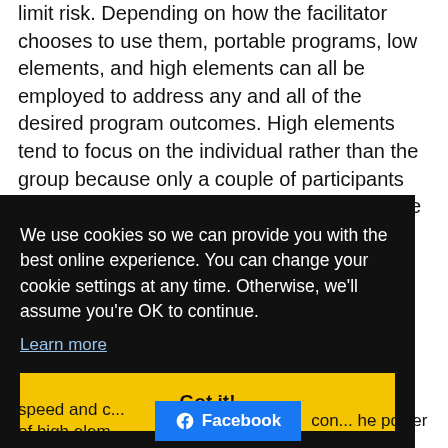limit risk. Depending on how the facilitator chooses to use them, portable programs, low elements, and high elements can all be employed to address any and all of the desired program outcomes. High elements tend to focus on the individual rather than the group because only a couple of participants can be off the ground at the same time. While one or two people climb, remaining group members may provide verbal support,
We use cookies so we can provide you with the best online experience. You can change your cookie settings at any time. Otherwise, we'll assume you're OK to continue.
Learn more
Got it!
speed and c... of high elem...
Facebook
con... he power